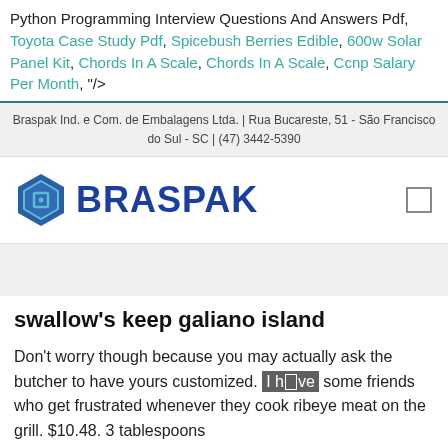Python Programming Interview Questions And Answers Pdf, Toyota Case Study Pdf, Spicebush Berries Edible, 600w Solar Panel Kit, Chords In A Scale, Chords In A Scale, Ccnp Salary Per Month, "/>
Braspak Ind. e Com. de Embalagens Ltda. | Rua Bucareste, 51 - São Francisco do Sul - SC | (47) 3442-5390
[Figure (logo): Braspak logo with hexagon icon and bold blue BRASPAK text]
swallow's keep galiano island
Don't worry though because you may actually ask the butcher to have yours customized. I have some friends who get frustrated whenever they cook ribeye meat on the grill. $10.48. 3 tablespoons